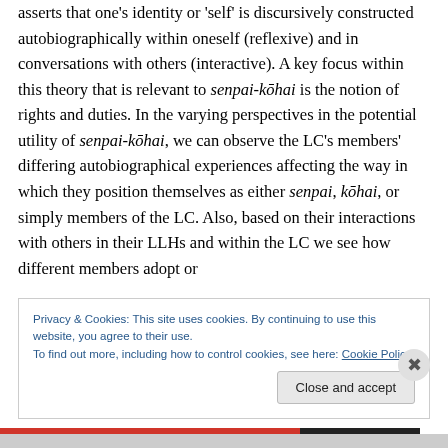asserts that one's identity or 'self' is discursively constructed autobiographically within oneself (reflexive) and in conversations with others (interactive). A key focus within this theory that is relevant to senpai-kōhai is the notion of rights and duties. In the varying perspectives in the potential utility of senpai-kōhai, we can observe the LC's members' differing autobiographical experiences affecting the way in which they position themselves as either senpai, kōhai, or simply members of the LC. Also, based on their interactions with others in their LLHs and within the LC we see how different members adopt or
Privacy & Cookies: This site uses cookies. By continuing to use this website, you agree to their use.
To find out more, including how to control cookies, see here: Cookie Policy